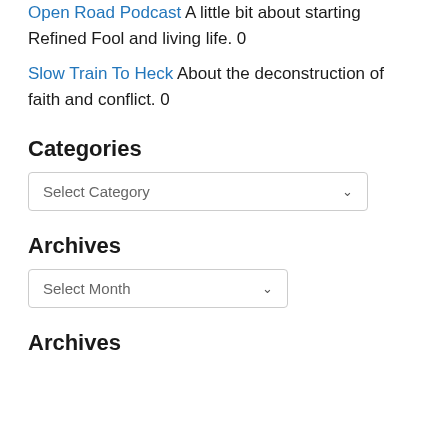Open Road Podcast A little bit about starting Refined Fool and living life. 0
Slow Train To Heck About the deconstruction of faith and conflict. 0
Categories
[Figure (screenshot): Select Category dropdown box]
Archives
[Figure (screenshot): Select Month dropdown box]
Archives